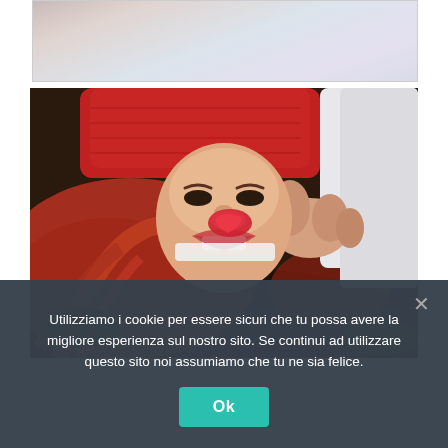[Figure (photo): Partial view of a photo at top — light pastel background, partial figure visible]
[Figure (photo): Photo of a woman lying upside-down, smiling, with long red hair spread out. She wears a red knitted top and holds a red rose petal near her face. Another person in a white shirt is partially visible.]
Utilizziamo i cookie per essere sicuri che tu possa avere la migliore esperienza sul nostro sito. Se continui ad utilizzare questo sito noi assumiamo che tu ne sia felice.